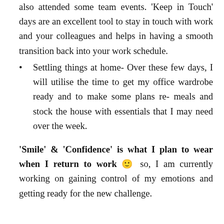also attended some team events. 'Keep in Touch' days are an excellent tool to stay in touch with work and your colleagues and helps in having a smooth transition back into your work schedule.
Settling things at home- Over these few days, I will utilise the time to get my office wardrobe ready and to make some plans re- meals and stock the house with essentials that I may need over the week.
'Smile' & 'Confidence' is what I plan to wear when I return to work 🙂 so, I am currently working on gaining control of my emotions and getting ready for the new challenge.